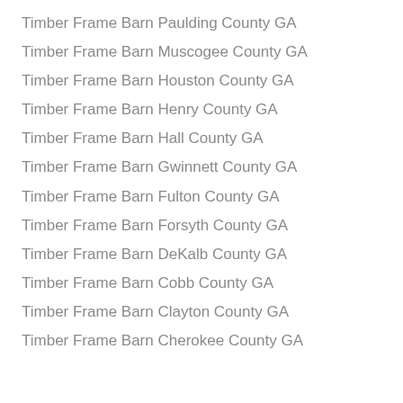Timber Frame Barn Paulding County GA
Timber Frame Barn Muscogee County GA
Timber Frame Barn Houston County GA
Timber Frame Barn Henry County GA
Timber Frame Barn Hall County GA
Timber Frame Barn Gwinnett County GA
Timber Frame Barn Fulton County GA
Timber Frame Barn Forsyth County GA
Timber Frame Barn DeKalb County GA
Timber Frame Barn Cobb County GA
Timber Frame Barn Clayton County GA
Timber Frame Barn Cherokee County GA